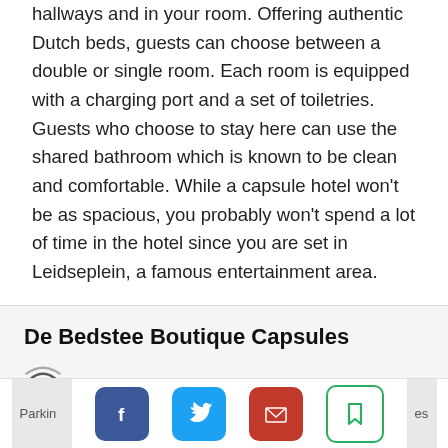hallways and in your room. Offering authentic Dutch beds, guests can choose between a double or single room. Each room is equipped with a charging port and a set of toiletries. Guests who choose to stay here can use the shared bathroom which is known to be clean and comfortable. While a capsule hotel won't be as spacious, you probably won't spend a lot of time in the hotel since you are set in Leidseplein, a famous entertainment area.
De Bedstee Boutique Capsules
Address: J.W. Brouwersstraat 25
Accommodates: 2